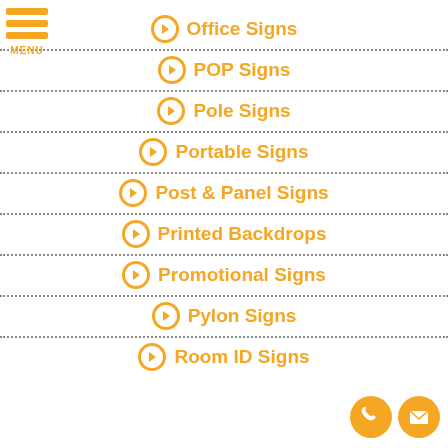[Figure (other): Hamburger menu icon with three orange bars and MENU label]
➔ Office Signs
➔ POP Signs
➔ Pole Signs
➔ Portable Signs
➔ Post & Panel Signs
➔ Printed Backdrops
➔ Promotional Signs
➔ Pylon Signs
➔ Room ID Signs
[Figure (other): Phone and email contact icon buttons (orange circles)]